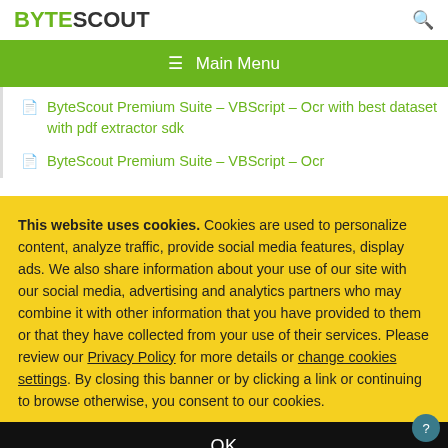BYTESCOUT
☰ Main Menu
ByteScout Premium Suite – VBScript – Ocr with best dataset with pdf extractor sdk
ByteScout Premium Suite – VBScript – Ocr
This website uses cookies. Cookies are used to personalize content, analyze traffic, provide social media features, display ads. We also share information about your use of our site with our social media, advertising and analytics partners who may combine it with other information that you have provided to them or that they have collected from your use of their services. Please review our Privacy Policy for more details or change cookies settings. By closing this banner or by clicking a link or continuing to browse otherwise, you consent to our cookies.
OK